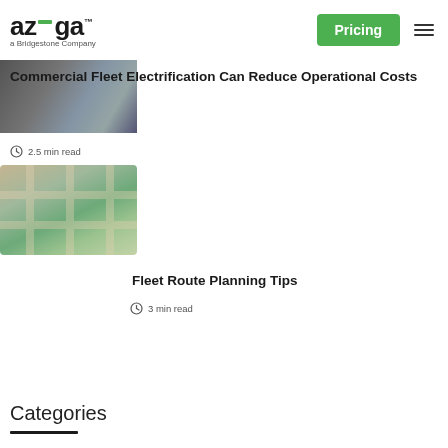azuga a Bridgestone Company — Pricing [navigation]
[Figure (photo): Partial image of warehouse/fleet worker with boxes and blue shelving in background]
Commercial Fleet Electrification Can Reduce Operational Costs
2.5 min read
[Figure (photo): Aerial illustration of city map with green delivery vans and cardboard boxes]
Fleet Route Planning Tips
3 min read
Categories